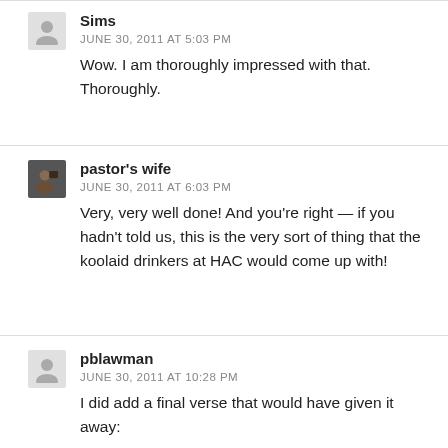Sims
JUNE 30, 2011 AT 5:03 PM
Wow. I am thoroughly impressed with that. Thoroughly.
pastor's wife
JUNE 30, 2011 AT 6:03 PM
Very, very well done! And you're right — if you hadn't told us, this is the very sort of thing that the koolaid drinkers at HAC would come up with!
pblawman
JUNE 30, 2011 AT 10:28 PM
I did add a final verse that would have given it away: